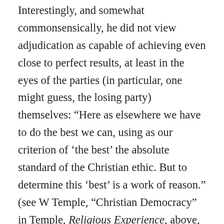Interestingly, and somewhat commonsensically, he did not view adjudication as capable of achieving even close to perfect results, at least in the eyes of the parties (in particular, one might guess, the losing party) themselves: “Here as elsewhere we have to do the best we can, using as our criterion of ‘the best’ the absolute standard of the Christian ethic. But to determine this ‘best’ is a work of reason.” (see W Temple, “Christian Democracy” in Temple, Religious Experience, above, note 271, 136-152 at 151. He then proceeds to observe, consistent with views we have already seen above (see above, note 293), that “[i]n practice this reliance upon reason works out as a positive desire to hear the best that can be said for the other side” (see ibid). He also argues that Christian charity or